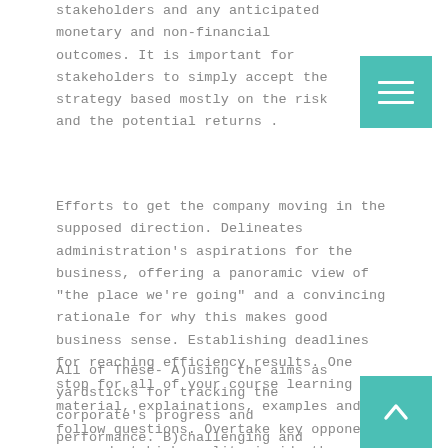stakeholders and any anticipated monetary and non-financial outcomes. It is important for stakeholders to simply accept the strategy based mostly on the risk and the potential returns .
Efforts to get the company moving in the supposed direction. Delineates administration's aspirations for the business, offering a panoramic view of "the place we're going" and a convincing rationale for why this makes good business sense. Establishing deadlines for reaching efficiency results. One stop for all of your course learning material, explainations, examples and follow questions. Overtake key opponents on product high quality inside three years.
All of These- A)using the aims as yardsticks for tracking the corporate's progress and performance. B)challenging and helping stretch the organization to carry out at its full potential and deliver the very best results. C) converting strategic vision into specific efficiency targets—results and